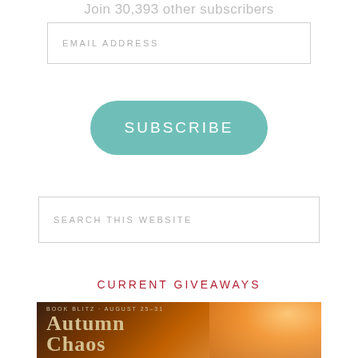Join 30,393 other subscribers
[Figure (screenshot): Email address input field with placeholder text 'EMAIL ADDRESS']
[Figure (screenshot): Teal rounded SUBSCRIBE button]
[Figure (screenshot): Search input field with placeholder text 'SEARCH THIS WEBSITE']
CURRENT GIVEAWAYS
[Figure (illustration): Book blitz banner for 'Autumn Chaos' showing text 'BOOK BLITZ · AUGUST 25-31' above 'AUTUMN CHAOS' in large serif font, with a woman with long red hair on the right side against warm orange glowing background]